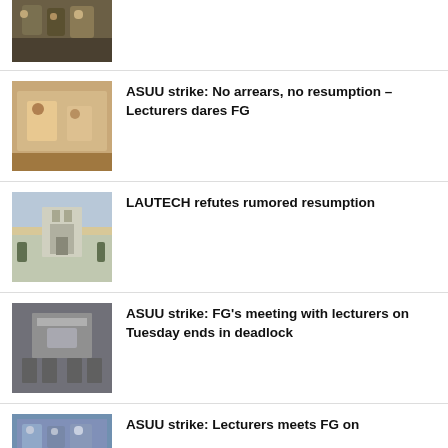[Figure (photo): Military personnel photo thumbnail]
[Figure (photo): ASUU strike meeting photo thumbnail]
ASUU strike: No arrears, no resumption – Lecturers dares FG
[Figure (photo): LAUTECH gate photo thumbnail]
LAUTECH refutes rumored resumption
[Figure (photo): ASUU FG meeting room photo thumbnail]
ASUU strike: FG's meeting with lecturers on Tuesday ends in deadlock
[Figure (photo): ASUU lecturers meeting photo thumbnail]
ASUU strike: Lecturers meets FG on